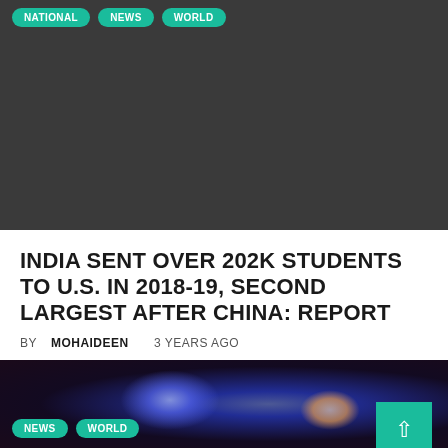[Figure (photo): Dark gray image area with NATIONAL, NEWS, WORLD tags at top]
INDIA SENT OVER 202K STUDENTS TO U.S. IN 2018-19, SECOND LARGEST AFTER CHINA: REPORT
BY MOHAIDEEN   3 YEARS AGO
The data from the US Department of Commerce stated that international students contributed $44.7 billion
[Figure (photo): Dark nighttime photo with light effects, NEWS and WORLD tags visible]